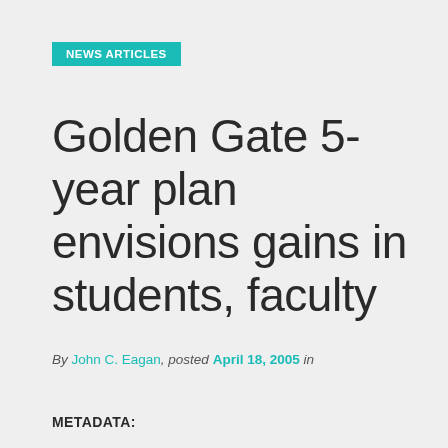NEWS ARTICLES
Golden Gate 5-year plan envisions gains in students, faculty
By John C. Eagan, posted April 18, 2005 in
METADATA: